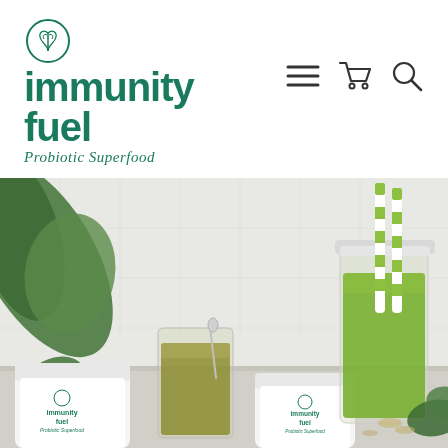[Figure (logo): Immunity Fuel Probiotic Superfood logo with fern/plant icon in circle, dark teal color, with tagline 'Probiotic Superfood' in italic]
[Figure (infographic): Navigation icons: hamburger menu, shopping cart, and search/magnifying glass in dark gray]
[Figure (photo): Product lifestyle photo showing two white Immunity Fuel supplement containers, a glass of green juice with a spoon, a mason jar with green smoothie and green/white striped straws, and green leafy plants on a white tile background]